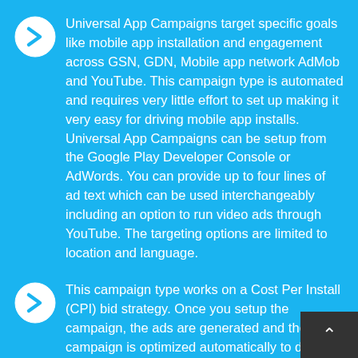Universal App Campaigns target specific goals like mobile app installation and engagement across GSN, GDN, Mobile app network AdMob and YouTube. This campaign type is automated and requires very little effort to set up making it very easy for driving mobile app installs. Universal App Campaigns can be setup from the Google Play Developer Console or AdWords. You can provide up to four lines of ad text which can be used interchangeably including an option to run video ads through YouTube. The targeting options are limited to location and language.
This campaign type works on a Cost Per Install (CPI) bid strategy. Once you setup the campaign, the ads are generated and the campaign is optimized automatically to deliver mobile app installs based on